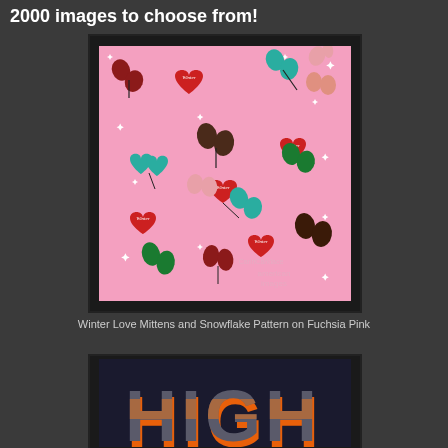2000 images to choose from!
[Figure (illustration): Winter Love Mittens and Snowflake Pattern on Fuchsia Pink — decorative pattern with mittens, hearts labeled 'Winter', snowflake sparkles on pink background]
Winter Love Mittens and Snowflake Pattern on Fuchsia Pink
[Figure (illustration): Partial view of a large bold 'HIGH' text with orange 3D shadow effect and sunset/landscape photo inside the letters]